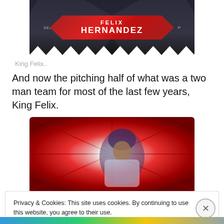[Figure (photo): Baseball trading card top portion showing Felix Hernandez name banner in red diamond/hexagon shape on dark background with SEA team label and P position label, zigzag bottom edge]
King Felix..
And now the pitching half of what was a two man team for most of the last few years, King Felix.
[Figure (photo): Baseball trading card showing a player in purple batting helmet, red diamond/starburst frame design with holographic center]
Privacy & Cookies: This site uses cookies. By continuing to use this website, you agree to their use.
To find out more, including how to control cookies, see here: Cookie Policy